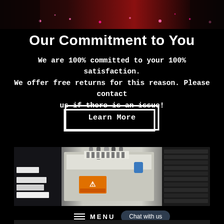[Figure (photo): Top portion of a photo showing a performer or scene with pink/magenta fairy lights on a dark red/black background, partially cropped at top of page]
Our Commitment to You
We are 100% committed to your 100% satisfaction. We offer free returns for this reason. Please contact us if there is an issue!
Learn More
[Figure (photo): Photo of industrial printing or electronics equipment — white/grey machine with cables, connectors, orange warning label, blue cap, and circuit/card components; print samples visible at left]
MENU
Chat with us
[Figure (photo): Partial bottom photo strip, dark tones, appears to be machinery or equipment, cropped at bottom of page]